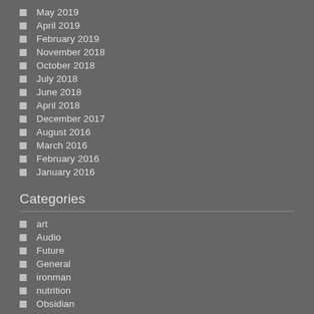May 2019
April 2019
February 2019
November 2018
October 2018
July 2018
June 2018
April 2018
December 2017
August 2016
March 2016
February 2016
January 2016
Categories
art
Audio
Future
General
ironman
nutrition
Obsidian
OGB
Past